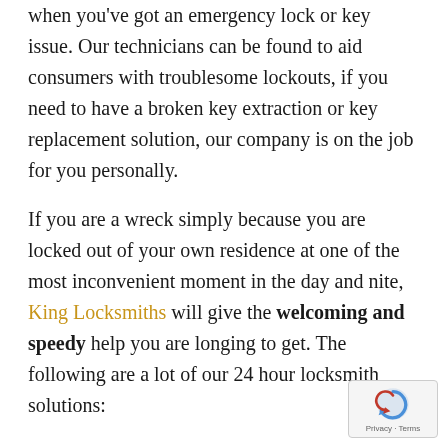when you've got an emergency lock or key issue. Our technicians can be found to aid consumers with troublesome lockouts, if you need to have a broken key extraction or key replacement solution, our company is on the job for you personally.
If you are a wreck simply because you are locked out of your own residence at one of the most inconvenient moment in the day and nite, King Locksmiths will give the welcoming and speedy help you are longing to get. The following are a lot of our 24 hour locksmith solutions:
pro key extraction
destroyed key alternative
home, car and office lockouts
24 hour burglary damage service assistance